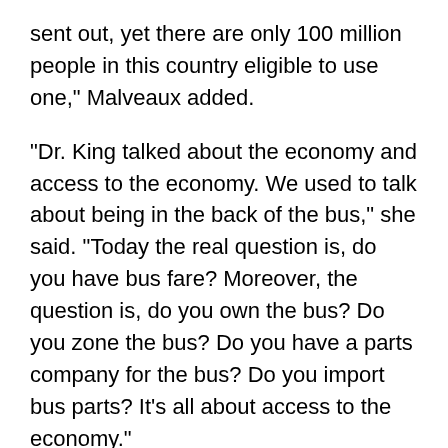sent out, yet there are only 100 million people in this country eligible to use one," Malveaux added.
"Dr. King talked about the economy and access to the economy. We used to talk about being in the back of the bus," she said. "Today the real question is, do you have bus fare? Moreover, the question is, do you own the bus? Do you zone the bus? Do you have a parts company for the bus? Do you import bus parts? It's all about access to the economy."
President Vest lauded the efforts on behalf of minorities and women on the MIT campus, primarily at the undergraduate level. But he also said he regretted that efforts toward racial diversity among graduate students and within the MIT faculty have